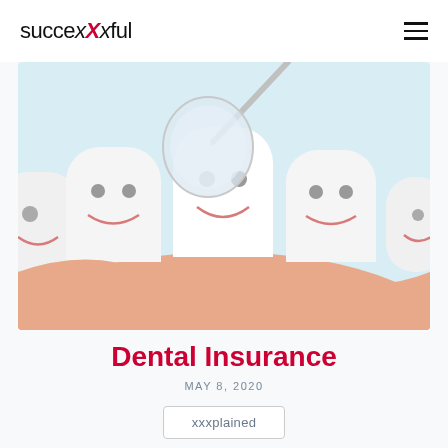succexxxful
[Figure (illustration): Cartoon illustration of smiling tooth characters in a row with a dental mirror instrument above them, set against a light blue background with a peach/skin-tone gum area at the bottom.]
Dental Insurance
MAY 8, 2020
xxxplained